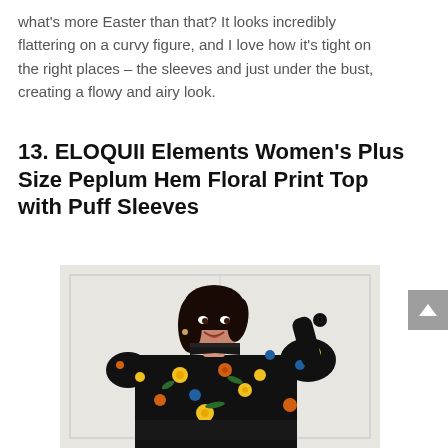what's more Easter than that? It looks incredibly flattering on a curvy figure, and I love how it's tight on the right places – the sleeves and just under the bust, creating a flowy and airy look.
13. ELOQUII Elements Women's Plus Size Peplum Hem Floral Print Top with Puff Sleeves
[Figure (photo): A woman with dark hair smiling, wearing a black floral print top with puff sleeves (ELOQUII Elements peplum hem top), posing against a white background.]